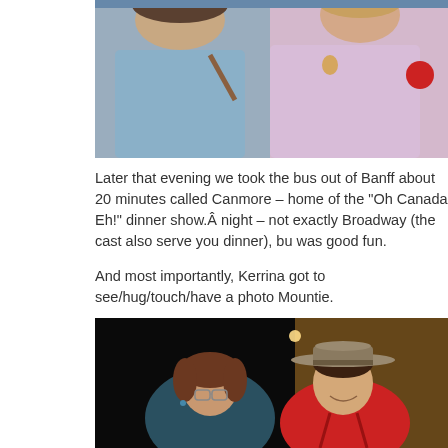[Figure (photo): Top portion of a photo showing two women standing together, one in a light blue top and one in a pink top with a maple leaf pendant and a red circular logo on the sleeve.]
Later that evening we took the bus out of Banff about 20 minutes called Canmore – home of the "Oh Canada Eh!" dinner show.Â  night – not exactly Broadway (the cast also serve you dinner), bu was good fun.
And most importantly, Kerrina got to see/hug/touch/have a photo Mountie.
[Figure (photo): Photo of a woman with glasses and brown hair posing with a man in a red RCMP Mountie uniform and wide-brimmed hat, taken indoors against a dark background.]